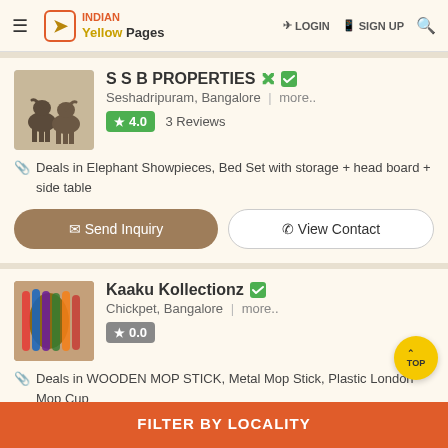INDIAN Yellow Pages | LOGIN | SIGN UP
S S B PROPERTIES
Seshadripuram, Bangalore | more..
4.0  3 Reviews
Deals in Elephant Showpieces, Bed Set with storage + head board + side table
Kaaku Kollectionz
Chickpet, Bangalore | more..
0.0
Deals in WOODEN MOP STICK, Metal Mop Stick, Plastic London Mop Cup
FILTER BY LOCALITY